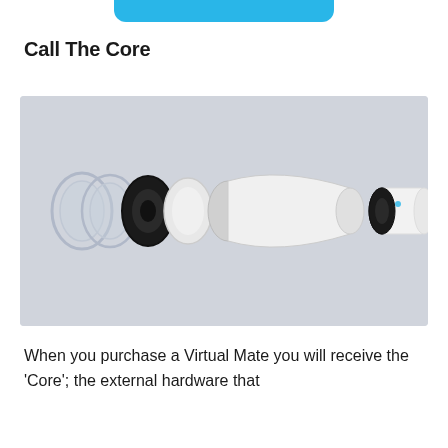[Figure (other): Blue button/tab at top of page, partially cropped]
Call The Core
[Figure (photo): Exploded product diagram of a cylindrical device called the Core, showing components separated on a grey background: lens elements, black ring, white cylindrical body sections]
When you purchase a Virtual Mate you will receive the 'Core'; the external hardware that